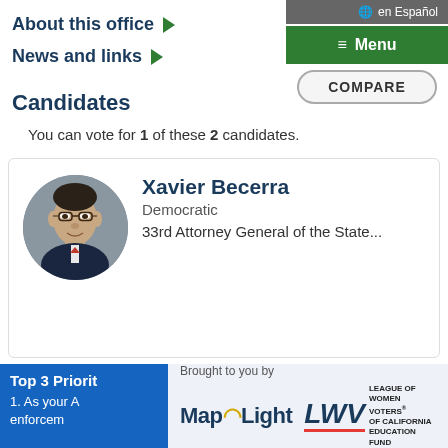About this office ▶
News and links ▶
Candidates
You can vote for 1 of these 2 candidates.
[Figure (photo): Headshot photo of Xavier Becerra in a circular crop]
Xavier Becerra
Democratic
33rd Attorney General of the State...
Top 3 Priorit
1. As your A
enforcem
Brought to you by
[Figure (logo): MapLight logo with yellow wifi icon]
[Figure (logo): LWV - League of Women Voters of California Education Fund logo]